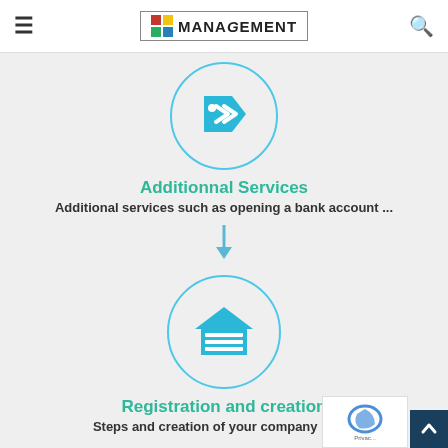MANAGEMENT (logo)
[Figure (illustration): Circular icon with a blue price tag / label icon inside, with a cyan circle border, on a light grey background]
Additionnal Services
Additional services such as opening a bank account ...
[Figure (illustration): Downward arrow in light blue/cyan color]
[Figure (illustration): Circular icon with a blue warehouse/garage building icon inside, with a cyan circle border, on a light grey background]
Registration and creation
Steps and creation of your company by us